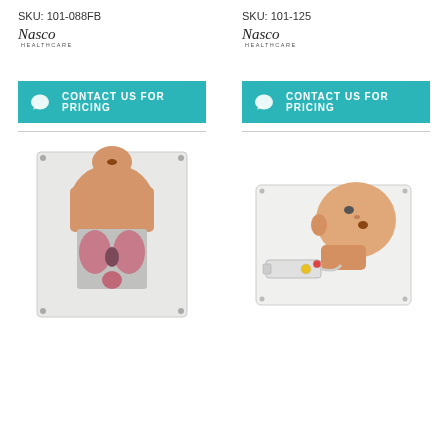SKU: 101-088FB
[Figure (logo): Nasco Healthcare logo - left column]
SKU: 101-125
[Figure (logo): Nasco Healthcare logo - right column]
CONTACT US FOR PRICING
CONTACT US FOR PRICING
[Figure (photo): Medical training manikin torso with anatomical organs visible, laid flat on white board]
[Figure (photo): Infant medical training head/neck manikin on white board with syringe and tubing attached]